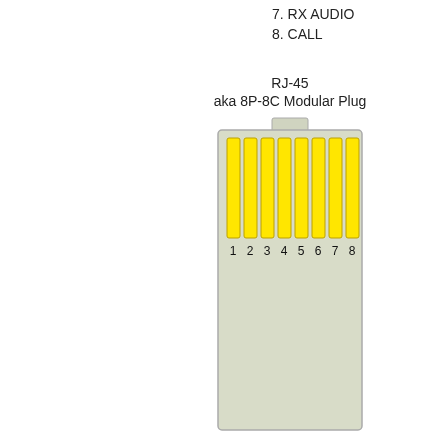7. RX AUDIO
8. CALL
[Figure (schematic): RJ-45 aka 8P-8C Modular Plug diagram showing front face of connector with 8 numbered yellow pins (contacts) labeled 1 through 8 from left to right, set in a light gray rectangular housing with a small tab at the top center.]